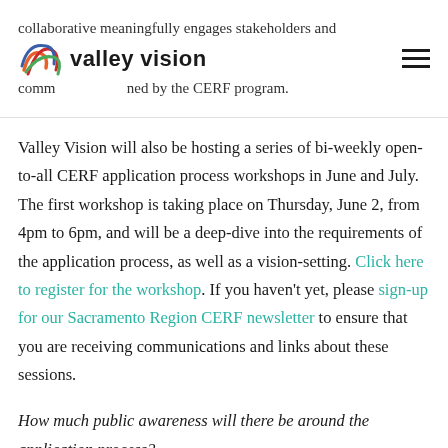collaborative meaningfully engages stakeholders and communities informed by the CERF program. valley vision [logo]
Valley Vision will also be hosting a series of bi-weekly open-to-all CERF application process workshops in June and July. The first workshop is taking place on Thursday, June 2, from 4pm to 6pm, and will be a deep-dive into the requirements of the application process, as well as a vision-setting. Click here to register for the workshop. If you haven't yet, please sign-up for our Sacramento Region CERF newsletter to ensure that you are receiving communications and links about these sessions.
How much public awareness will there be around the application process?